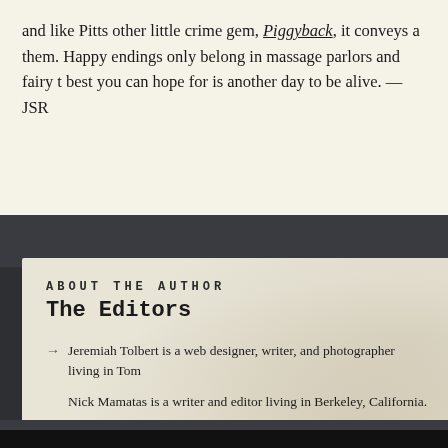and like Pitts other little crime gem, Piggyback, it conveys a them. Happy endings only belong in massage parlors and fairy t best you can hope for is another day to be alive. —JSR
ABOUT THE AUTHOR
The Editors
Jeremiah Tolbert is a web designer, writer, and photographer living in Tom
Nick Mamatas is a writer and editor living in Berkeley, California.
Seth Cadin is an East Bay artist and editor who also sometimes trades sto
Molly Tanzer writes and edits in Boulder, Colorado.